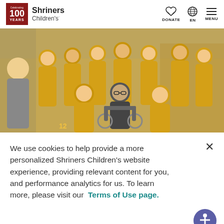Shriners Children's - Celebrating 100 Years | DONATE | EN | MENU
[Figure (photo): Group photo of young people wearing yellow Football team shirts, with one person seated in a wheelchair in the center, taken indoors]
We use cookies to help provide a more personalized Shriners Children's website experience, providing relevant content for you, and performance analytics for us. To learn more, please visit our Terms of Use page.